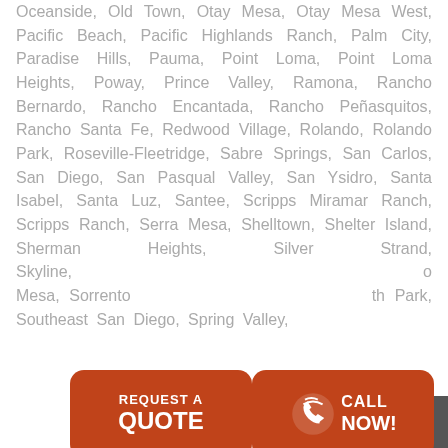Oceanside, Old Town, Otay Mesa, Otay Mesa West, Pacific Beach, Pacific Highlands Ranch, Palm City, Paradise Hills, Pauma, Point Loma, Point Loma Heights, Poway, Prince Valley, Ramona, Rancho Bernardo, Rancho Encantada, Rancho Peñasquitos, Rancho Santa Fe, Redwood Village, Rolando, Rolando Park, Roseville-Fleetridge, Sabre Springs, San Carlos, San Diego, San Pasqual Valley, San Ysidro, Santa Isabel, Santa Luz, Santee, Scripps Miramar Ranch, Scripps Ranch, Serra Mesa, Shelltown, Shelter Island, Sherman Heights, Silver Strand, Skyline, Sorrento, South Park, Southeast San Diego, Spring Valley,
[Figure (other): Two orange call-to-action buttons: 'REQUEST A QUOTE' and 'CALL NOW!' with a phone icon]
[Figure (other): Scroll-to-top button (dark gray) with an upward-pointing chevron arrow, positioned bottom-right]